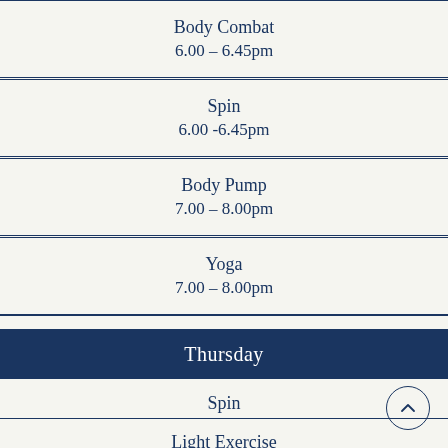Body Combat
6.00 – 6.45pm
Spin
6.00 -6.45pm
Body Pump
7.00 – 8.00pm
Yoga
7.00 – 8.00pm
Thursday
Spin
9.15 – 10.00am
Light Exercise
10.15 – 11.15am